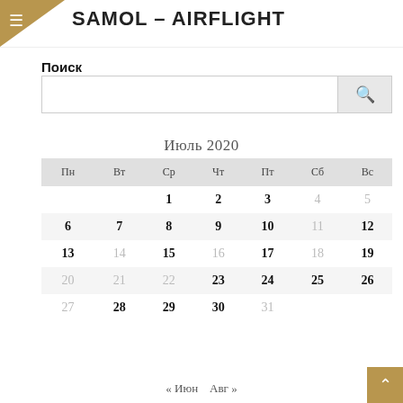SAMOL – AIRFLIGHT
Поиск
Июль 2020
| Пн | Вт | Ср | Чт | Пт | Сб | Вс |
| --- | --- | --- | --- | --- | --- | --- |
|  |  | 1 | 2 | 3 | 4 | 5 |
| 6 | 7 | 8 | 9 | 10 | 11 | 12 |
| 13 | 14 | 15 | 16 | 17 | 18 | 19 |
| 20 | 21 | 22 | 23 | 24 | 25 | 26 |
| 27 | 28 | 29 | 30 | 31 |  |  |
« Июн   Авг »